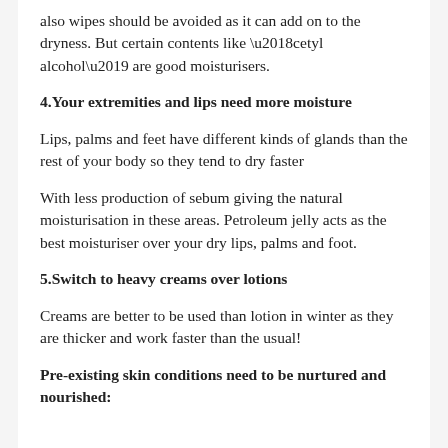also wipes should be avoided as it can add on to the dryness. But certain contents like ‘cetyl alcohol’ are good moisturisers.
4.Your extremities and lips need more moisture
Lips, palms and feet have different kinds of glands than the rest of your body so they tend to dry faster
With less production of sebum giving the natural moisturisation in these areas. Petroleum jelly acts as the best moisturiser over your dry lips, palms and foot.
5.Switch to heavy creams over lotions
Creams are better to be used than lotion in winter as they are thicker and work faster than the usual!
Pre-existing skin conditions need to be nurtured and nourished: